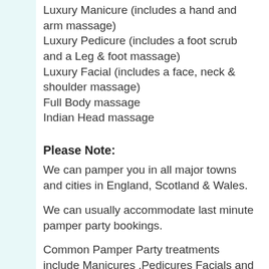Luxury Manicure (includes a hand and arm massage)
Luxury Pedicure (includes a foot scrub and a Leg & foot massage)
Luxury Facial (includes a face, neck & shoulder massage)
Full Body massage
Indian Head massage
Please Note:
We can pamper you in all major towns and cities in England, Scotland & Wales.
We can usually accommodate last minute pamper party bookings.
Common Pamper Party treatments include Manicures ,Pedicures Facials and Massage . If you have chosen a party which gives you only one therapist then in rare cases your choice of treatments may be limited to just